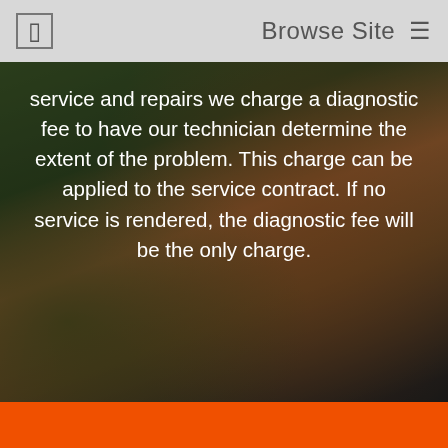Browse Site
[Figure (photo): HVAC technician working on an air conditioning unit outdoors, with background greenery. Photo is darkened with a semi-transparent overlay.]
service and repairs we charge a diagnostic fee to have our technician determine the extent of the problem. This charge can be applied to the service contract. If no service is rendered, the diagnostic fee will be the only charge.
Name *
Phone *